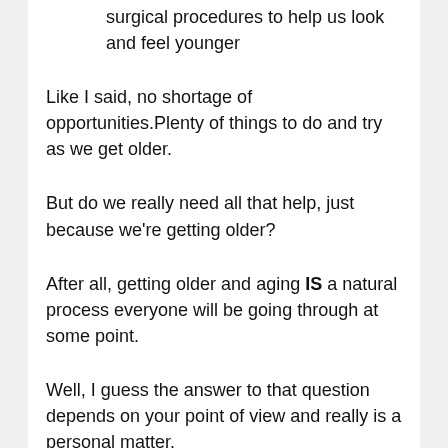surgical procedures to help us look and feel younger
Like I said, no shortage of opportunities.Plenty of things to do and try as we get older.
But do we really need all that help, just because we're getting older?
After all, getting older and aging IS a natural process everyone will be going through at some point.
Well, I guess the answer to that question depends on your point of view and really is a personal matter.